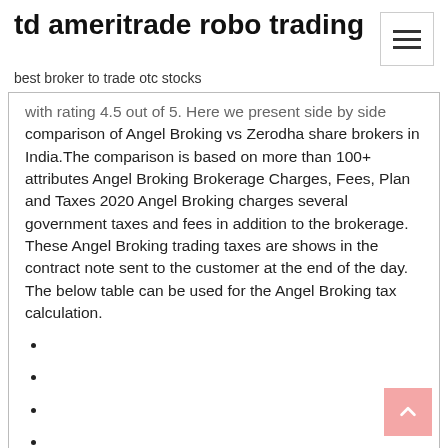td ameritrade robo trading
best broker to trade otc stocks
with rating 4.5 out of 5. Here we present side by side comparison of Angel Broking vs Zerodha share brokers in India.The comparison is based on more than 100+ attributes Angel Broking Brokerage Charges, Fees, Plan and Taxes 2020 Angel Broking charges several government taxes and fees in addition to the brokerage. These Angel Broking trading taxes are shows in the contract note sent to the customer at the end of the day. The below table can be used for the Angel Broking tax calculation.